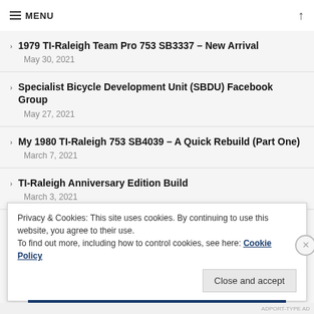MENU
1979 TI-Raleigh Team Pro 753 SB3337 – New Arrival
Specialist Bicycle Development Unit (SBDU) Facebook Group
My 1980 TI-Raleigh 753 SB4039 – A Quick Rebuild (Part One)
TI-Raleigh Anniversary Edition Build
1980 Raleigh 753 TI-Raleigh SB4039 – New Arrival
Privacy & Cookies: This site uses cookies. By continuing to use this website, you agree to their use. To find out more, including how to control cookies, see here: Cookie Policy
Close and accept